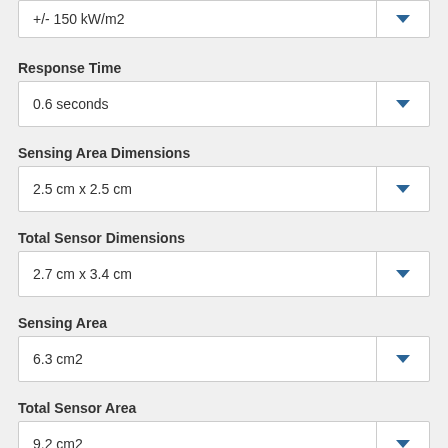+/- 150 kW/m2
Response Time
0.6 seconds
Sensing Area Dimensions
2.5 cm x 2.5 cm
Total Sensor Dimensions
2.7 cm x 3.4 cm
Sensing Area
6.3 cm2
Total Sensor Area
9.2 cm2